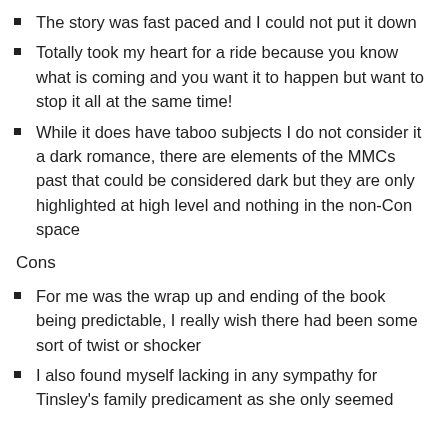The story was fast paced and I could not put it down
Totally took my heart for a ride because you know what is coming and you want it to happen but want to stop it all at the same time!
While it does have taboo subjects I do not consider it a dark romance, there are elements of the MMCs past that could be considered dark but they are only highlighted at high level and nothing in the non-Con space
Cons
For me was the wrap up and ending of the book being predictable, I really wish there had been some sort of twist or shocker
I also found myself lacking in any sympathy for Tinsley's family predicament as she only seemed